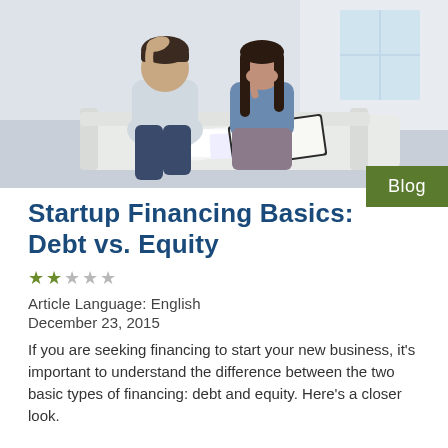[Figure (photo): A man and woman sitting on a couch looking stressed at financial documents spread in front of them. The man has his hand on his head and the woman covers her mouth.]
Startup Financing Basics: Debt vs. Equity
★★☆☆☆
Article Language: English
December 23, 2015
If you are seeking financing to start your new business, it's important to understand the difference between the two basic types of financing: debt and equity. Here's a closer look.